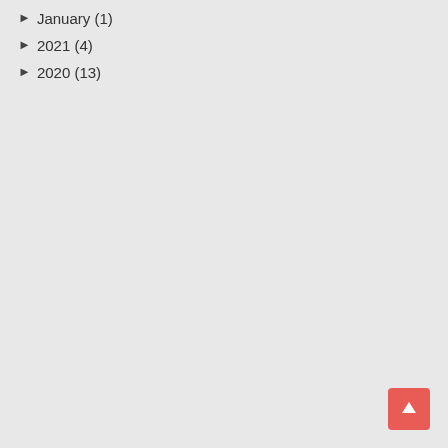► January (1)
► 2021 (4)
► 2020 (13)